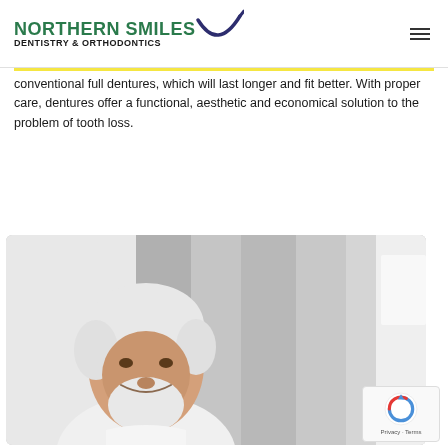NORTHERN SMILES DENTISTRY & ORTHODONTICS
conventional full dentures, which will last longer and fit better. With proper care, dentures offer a functional, aesthetic and economical solution to the problem of tooth loss.
[Figure (photo): Elderly man with white beard smiling warmly, seated in a bright room with grey curtains in the background]
Privacy · Terms